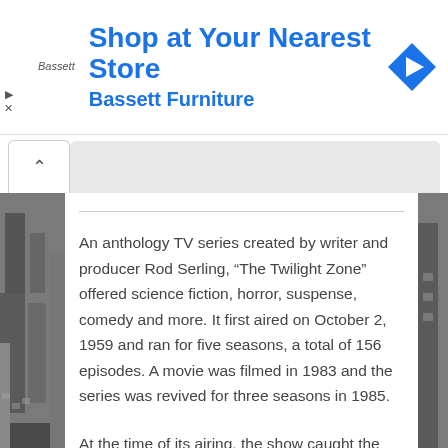[Figure (screenshot): Advertisement banner for Bassett Furniture with 'Shop at Your Nearest Store' headline and blue directional arrow icon, plus small play and close controls on the left]
[Figure (photo): Black and white city street crowd photograph visible on left and right edges behind the article content panel]
An anthology TV series created by writer and producer Rod Serling, “The Twilight Zone” offered science fiction, horror, suspense, comedy and more. It first aired on October 2, 1959 and ran for five seasons, a total of 156 episodes. A movie was filmed in 1983 and the series was revived for three seasons in 1985.
At the time of its airing, the show caught the imagination of the nation’s viewers and afterward